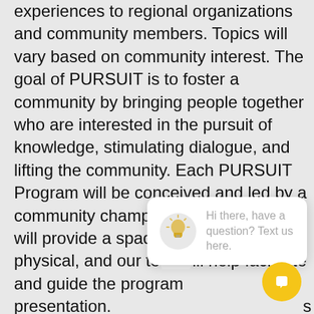experiences to regional organizations and community members. Topics will vary based on community interest. The goal of PURSUIT is to foster a community by bringing people together who are interested in the pursuit of knowledge, stimulating dialogue, and lifting the community. Each PURSUIT Program will be conceived and led by a community champion. CentreWorks will provide a space, whether digital or physical, and our te [close] ill help facilitate and guide the program presentation. s will utilize its c h to innovation. Champion with a topic that you think would interest and benefit the community ple submit your program interest to Antho Margida.
[Figure (screenshot): Chat widget popup showing a lightbulb icon and text 'Hi there, have a question? Text us here.' with a close button and a gold circular chat button in the bottom right.]